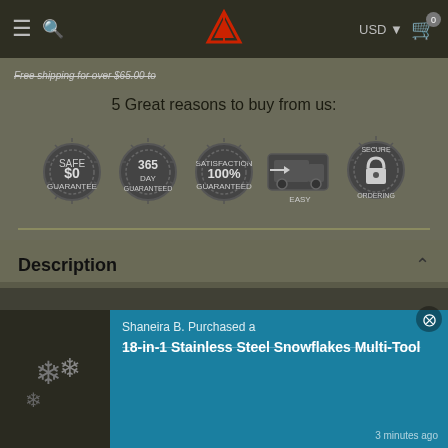Navigation bar with hamburger menu, search icon, logo, USD currency selector, and cart icon (0 items)
Free shipping for over $65.00 to
5 Great reasons to buy from us:
[Figure (illustration): Five circular badge icons: $0 price guarantee, 365-day guarantee, 100% satisfaction guaranteed, easy delivery truck, secure orders]
Description
Foldable Dog Swimming Pool
Shaneira B. Purchased a 18-in-1 Stainless Steel Snowflakes Multi-Tool 3 minutes ago